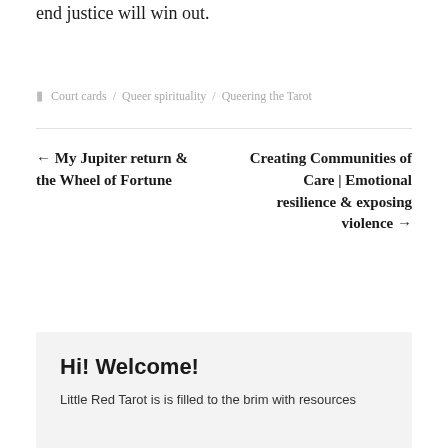end justice will win out.
Court cards / Queer spirituality / Queering the Tarot
← My Jupiter return & the Wheel of Fortune
Creating Communities of Care | Emotional resilience & exposing violence →
Hi! Welcome!
Little Red Tarot is is filled to the brim with resources